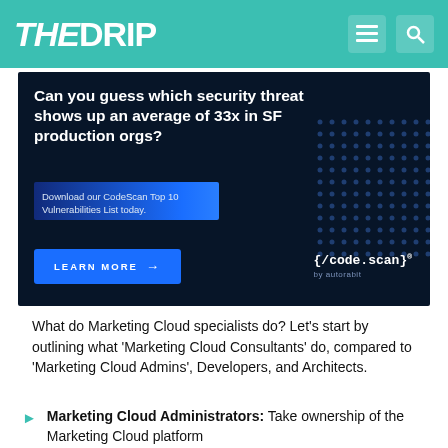THE DRIP
[Figure (infographic): Advertisement banner with dark navy background. Headline: 'Can you guess which security threat shows up an average of 33x in SF production orgs?' Subtext: 'Download our CodeScan Top 10 Vulnerabilities List today.' Blue 'LEARN MORE →' button. code.scan logo by autorabit at bottom right. Dot grid decoration on right side.]
What do Marketing Cloud specialists do? Let's start by outlining what 'Marketing Cloud Consultants' do, compared to 'Marketing Cloud Admins', Developers, and Architects.
Marketing Cloud Administrators: Take ownership of the Marketing Cloud platform